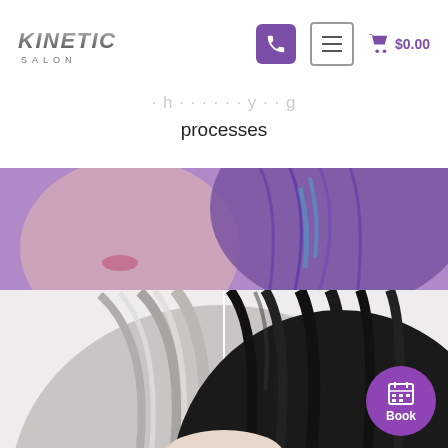Kinetic Salon — Navigation header with phone icon, menu icon, and cart showing $0.00
processes
[Figure (photo): Woman with purple/blue hair against a purple background]
[Figure (photo): Before and after comparison of hair color treatment — left side shows grey/salt-and-pepper hair, right side shows dark black hair. A circular purple 'Book' button with calendar icon is in the bottom right corner.]